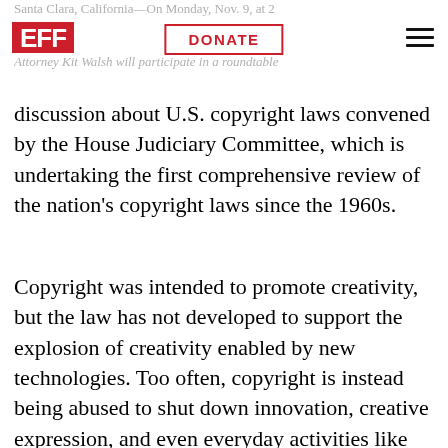Santa Clara, California—On Monday, Nov. 9, at 2 … Electronic Frontier Foundation (EFF) Staff Attorney Kit Walsh will participate in a roundtable
discussion about U.S. copyright laws convened by the House Judiciary Committee, which is undertaking the first comprehensive review of the nation's copyright laws since the 1960s.
Copyright was intended to promote creativity, but the law has not developed to support the explosion of creativity enabled by new technologies. Too often, copyright is instead being abused to shut down innovation, creative expression, and even everyday activities like tinkering with your car. At the roundtable discussion being held at Santa Clara University on Monday, Walsh will speak about reforming Section 1201 of the Digital Millennium Copyright Act (DMCA), an overbroad law that locks device owners out of their software and media